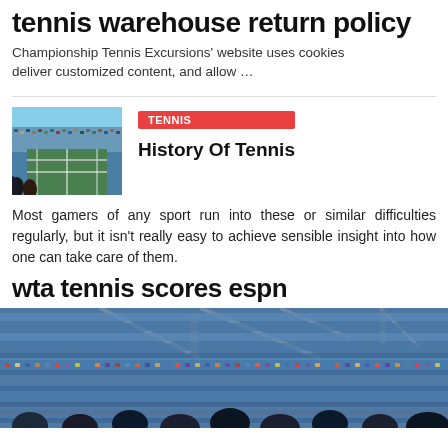tennis warehouse return policy
Championship Tennis Excursions' website uses cookies deliver customized content, and allow …
[Figure (photo): Tennis stadium filled with spectators, aerial view of court]
TENNIS
History Of Tennis
Most gamers of any sport run into these or similar difficulties regularly, but it isn't really easy to achieve sensible insight into how one can take care of them.
wta tennis scores espn
[Figure (photo): Tennis stadium filled with large crowd in blue seats, outdoor venue]